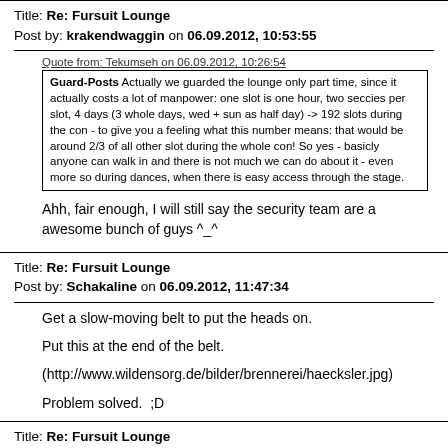Title: Re: Fursuit Lounge
Post by: krakendwaggin on 06.09.2012, 10:53:55
Quote from: Tekumseh on 06.09.2012, 10:26:54
Guard-Posts Actually we guarded the lounge only part time, since it actually costs a lot of manpower: one slot is one hour, two seccies per slot, 4 days (3 whole days, wed + sun as half day) -> 192 slots during the con - to give you a feeling what this number means: that would be around 2/3 of all other slot during the whole con! So yes - basicly anyone can walk in and there is not much we can do about it - even more so during dances, when there is easy access through the stage.
Ahh, fair enough, I will still say the security team are a awesome bunch of guys ^_^
Title: Re: Fursuit Lounge
Post by: Schakaline on 06.09.2012, 11:47:34
Get a slow-moving belt to put the heads on.
Put this at the end of the belt.
(http://www.wildensorg.de/bilder/brennerei/haecksler.jpg)
Problem solved.  ;D
Title: Re: Fursuit Lounge
Post by: Atelan on 06.09.2012, 11:57:52